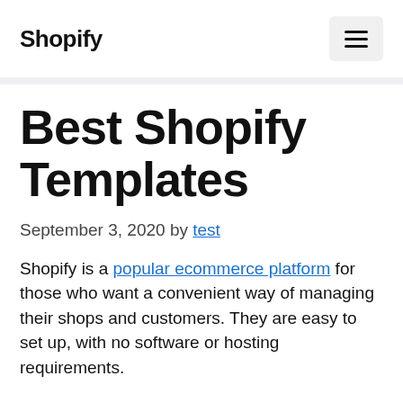Shopify
Best Shopify Templates
September 3, 2020 by test
Shopify is a popular ecommerce platform for those who want a convenient way of managing their shops and customers. They are easy to set up, with no software or hosting requirements.